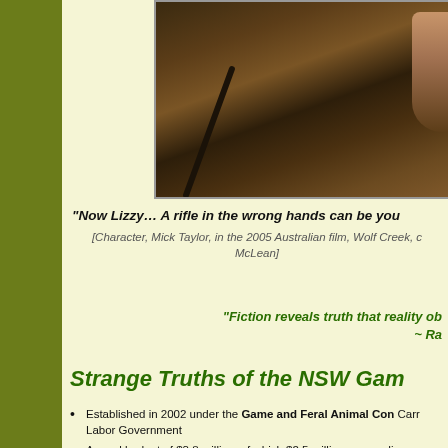[Figure (photo): A person holding a rifle outdoors, photographed in warm tones.]
“Now Lizzy… A rifle in the wrong hands can be you
[Character, Mick Taylor, in the 2005 Australian film, Wolf Creek, c McLean]
“Fiction reveals truth that reality ob ~ Ra
Strange Truths of the NSW Gam
Established in 2002 under the Game and Feral Animal Con Carr Labor Government
Annual budget of $3.8 million, of which $2.5 million comes di taxpayers
Received more than $12 million in NSW Government fundin